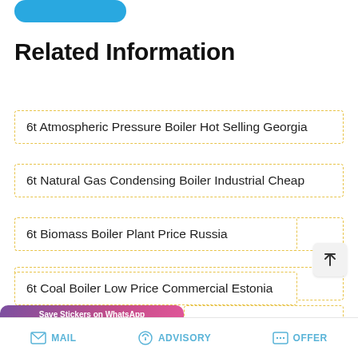[Figure (other): Blue rounded rectangle button at the top of the page]
Related Information
6t Atmospheric Pressure Boiler Hot Selling Georgia
6t Natural Gas Condensing Boiler Industrial Cheap
6t Biomass Boiler Plant Price Russia
6t Coal Boiler Low Price Commercial Estonia
6t Diesel Fired Boiler Cheap Industrial Uzbekistan
…and Manufacturing
[Figure (other): Save Stickers on WhatsApp overlay with phone and emoji icons on purple-pink gradient background]
MAIL   ADVISORY   OFFER